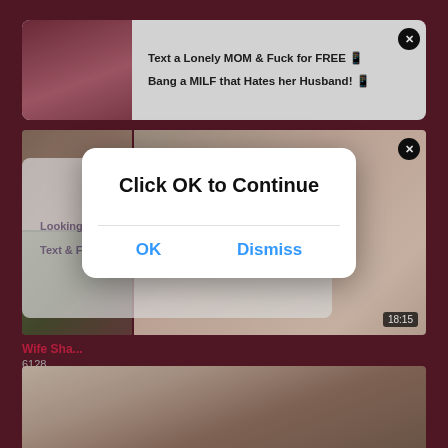[Figure (screenshot): Adult content advertisement banner with thumbnail image and text: 'Text a Lonely MOM & Fuck for FREE' and 'Bang a MILF that Hates her Husband!']
[Figure (screenshot): Adult content advertisement banner with text: 'Looking for Horny MILFs near Ashburn?' and 'Text & Fuck a Cheating MOM Near You']
Wife Sha...
6128
[Figure (screenshot): Dialog box popup with text 'Click OK to Continue' and two buttons: 'OK' and 'Dismiss']
[Figure (photo): Bottom video thumbnail showing two people]